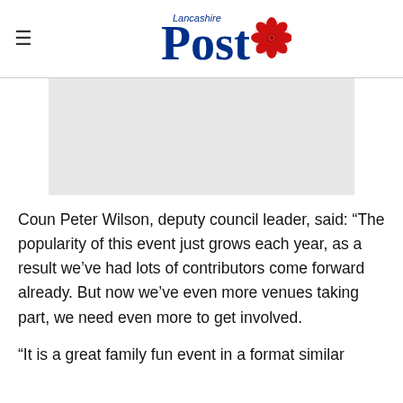Lancashire Post
[Figure (other): Grey advertisement placeholder rectangle]
Coun Peter Wilson, deputy council leader, said: “The popularity of this event just grows each year, as a result we’ve had lots of contributors come forward already. But now we’ve even more venues taking part, we need even more to get involved.
“It is a great family fun event in a format similar